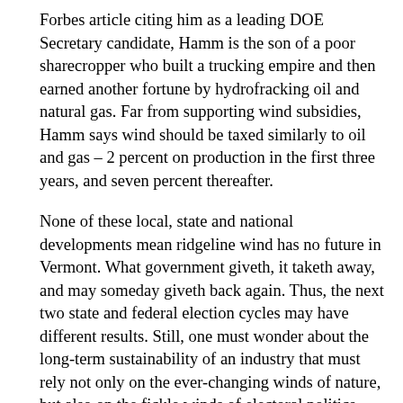Forbes article citing him as a leading DOE Secretary candidate, Hamm is the son of a poor sharecropper who built a trucking empire and then earned another fortune by hydrofracking oil and natural gas. Far from supporting wind subsidies, Hamm says wind should be taxed similarly to oil and gas – 2 percent on production in the first three years, and seven percent thereafter.
None of these local, state and national developments mean ridgeline wind has no future in Vermont. What government giveth, it taketh away, and may someday giveth back again. Thus, the next two state and federal election cycles may have different results. Still, one must wonder about the long-term sustainability of an industry that must rely not only on the ever-changing winds of nature, but also on the fickle winds of electoral politics.
Guy Page, a Berlin resident, is the Communications Director of the Vermont Energy Partnership, a coalition of Vermont individuals, trade, development and labor organizations, and businesses committed to clean, safe, affordable and...